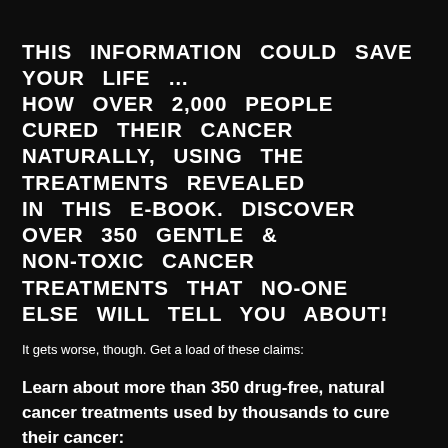THIS INFORMATION COULD SAVE YOUR LIFE … HOW OVER 2,000 PEOPLE CURED THEIR CANCER NATURALLY, USING THE TREATMENTS REVEALED IN THIS E-BOOK. DISCOVER OVER 350 GENTLE & NON-TOXIC CANCER TREATMENTS THAT NO-ONE ELSE WILL TELL YOU ABOUT!
It gets worse, though. Get a load of these claims:
Learn about more than 350 drug-free, natural cancer treatments used by thousands to cure their cancer:
Documented proof these treatments work - with over 2,000 testimonials you can read for free
Almost all treatments are non-specific, that is, they work with any cancer anywhere in the body.